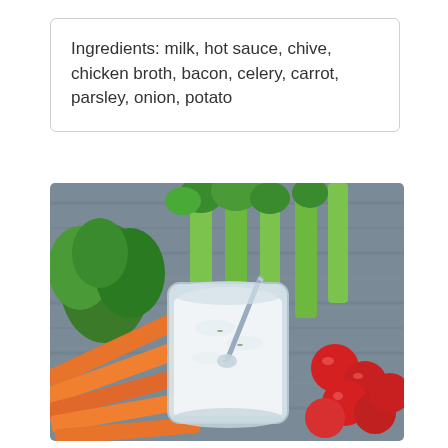Ingredients: milk, hot sauce, chive, chicken broth, bacon, celery, carrot, parsley, onion, potato
[Figure (photo): A glass jar filled with creamy white dip or dressing with a spoon in it, surrounded by carrot sticks on the left, celery stalks and parsley in the background, and cherry tomatoes on the right, on a gray wooden surface.]